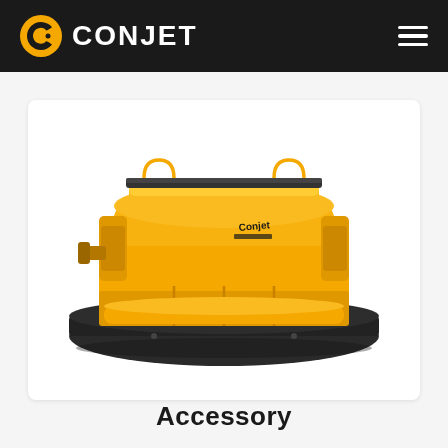CONJET
[Figure (photo): Yellow Conjet industrial hydrodemolition accessory unit — a large rectangular yellow machine with protective covers, mounted on a black base plate. The machine has the Conjet logo visible on its side.]
Accessory